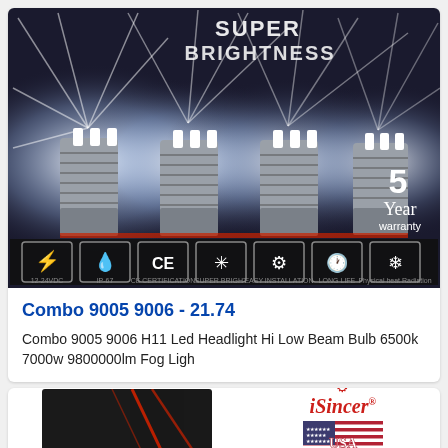[Figure (photo): Product photo of multiple LED headlight bulbs with bright rays and icons at the bottom showing features: 12-24V, IP47, CE Certification, Super Bright, Easy Installation, Long Life, Physical Heat Reduction. Text overlay: SUPER BRIGHTNESS, 5 Year warranty]
Combo 9005 9006 - 21.74
Combo 9005 9006 H11 Led Headlight Hi Low Beam Bulb 6500k 7000w 9800000lm Fog Ligh
[Figure (photo): Bottom of page showing partial product listing: black box with red angular design on left, and iSincer brand logo with USA flag image and 'USA Stock Free Shipping' text on right]